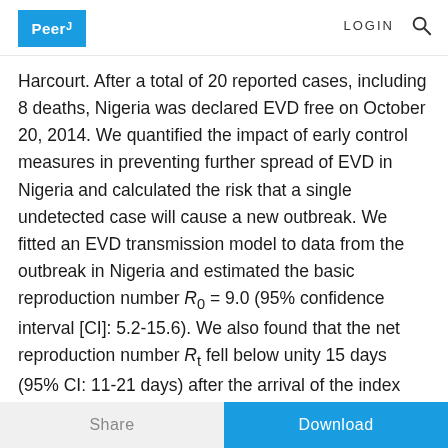PeerJ | LOGIN
Harcourt. After a total of 20 reported cases, including 8 deaths, Nigeria was declared EVD free on October 20, 2014. We quantified the impact of early control measures in preventing further spread of EVD in Nigeria and calculated the risk that a single undetected case will cause a new outbreak. We fitted an EVD transmission model to data from the outbreak in Nigeria and estimated the basic reproduction number R0 = 9.0 (95% confidence interval [CI]: 5.2-15.6). We also found that the net reproduction number Rt fell below unity 15 days (95% CI: 11-21 days) after the arrival of the index case. Using the estimated value of R0 in Nigeria, we calculated that the risk of an outbreak from a single undetected case was 89% (95% CI: 81-94%). Even though R0 in Nigeria was high, EVD
Share | Download